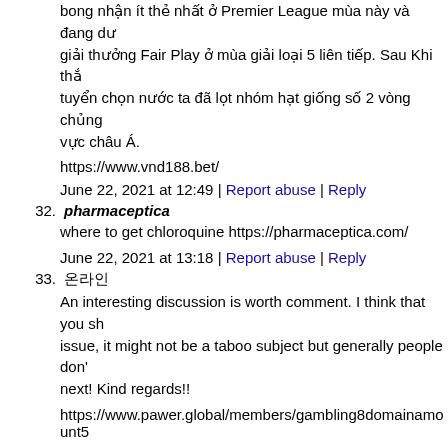bong nhận ít thẻ nhất ở Premier League mùa này và đang dư giải thưởng Fair Play ở mùa giải loại 5 liên tiếp. Sau Khi thắ tuyển chọn nước ta đã lọt nhóm hạt giống số 2 vòng chủng vực châu Á.
https://www.vnd188.bet/
June 22, 2021 at 12:49 | Report abuse | Reply
32. pharmaceptica
where to get chloroquine https://pharmaceptica.com/
June 22, 2021 at 13:18 | Report abuse | Reply
33. 온라인
An interesting discussion is worth comment. I think that you sh issue, it might not be a taboo subject but generally people don next! Kind regards!!
https://www.pawer.global/members/gambling8domainamount5
June 22, 2021 at 16:17 | Report abuse | Reply
34. 바카라사이트
Hello, I believe your blog may be having internet browser com look at your web site in Safari, it looks fine however when ope